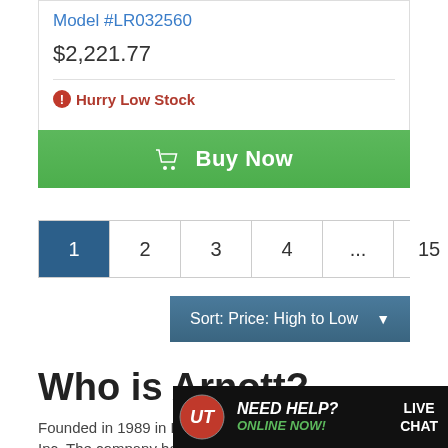Model #LR032560
$2,221.77
Hurry Low Stock
Buy Now
1  2  3  4  ...  15  Next »
Sort: Price: High to Low
Who is Arnott?
Founded in 1989 in Punta ... Inc. The company has bee...
[Figure (infographic): Live chat banner with red logo, 'NEED HELP? LIVE CHAT ONLINE NOW!' text]